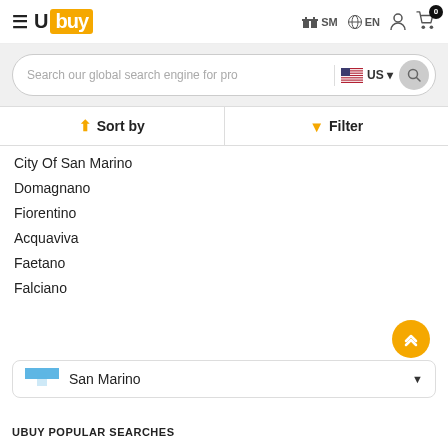Ubuy SM EN [cart: 0]
Search our global search engine for pro US
Sort by  Filter
City Of San Marino
Domagnano
Fiorentino
Acquaviva
Faetano
Falciano
San Marino
UBUY POPULAR SEARCHES